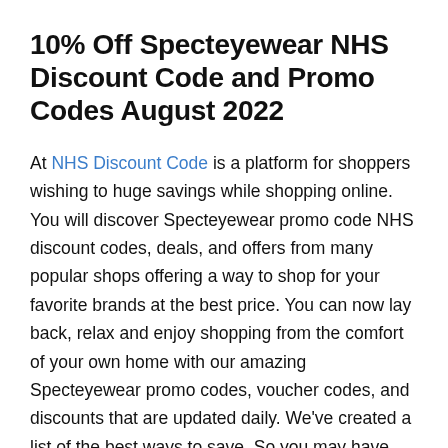10% Off Specteyewear NHS Discount Code and Promo Codes August 2022
At NHS Discount Code is a platform for shoppers wishing to huge savings while shopping online. You will discover Specteyewear promo code NHS discount codes, deals, and offers from many popular shops offering a way to shop for your favorite brands at the best price. You can now lay back, relax and enjoy shopping from the comfort of your own home with our amazing Specteyewear promo codes, voucher codes, and discounts that are updated daily. We've created a list of the best ways to save. So you may have more fun with Store name deals and special